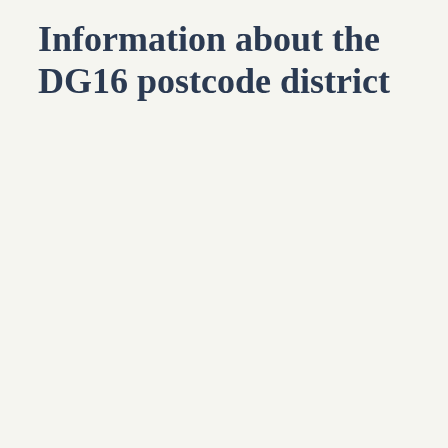Information about the DG16 postcode district